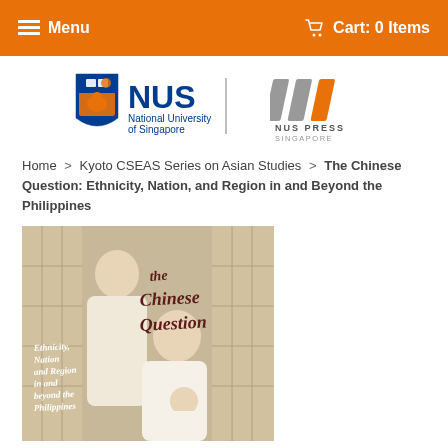≡ Menu   🛒 Cart: 0 Items
[Figure (logo): NUS National University of Singapore / NUS Press Singapore logo]
Home > Kyoto CSEAS Series on Asian Studies > The Chinese Question: Ethnicity, Nation, and Region in and Beyond the Philippines
[Figure (photo): Book cover of 'The Chinese Question: Ethnicity, Nation, and Region in and Beyond the Philippines' showing a painting of three women (two adults and a baby) with Japanese-style shoji screen panels in the background, with the title in handwritten script overlaid]